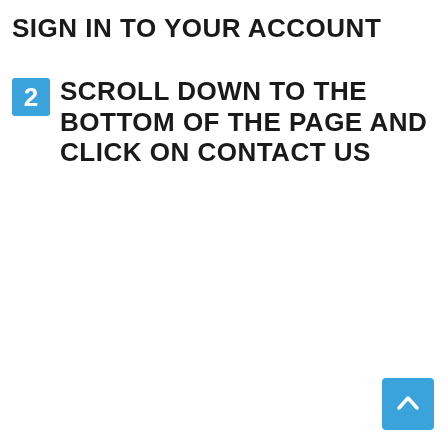SIGN IN TO YOUR ACCOUNT
2 SCROLL DOWN TO THE BOTTOM OF THE PAGE AND CLICK ON CONTACT US
[Figure (other): Blue rounded square button with a white upward chevron arrow, positioned at bottom right corner]